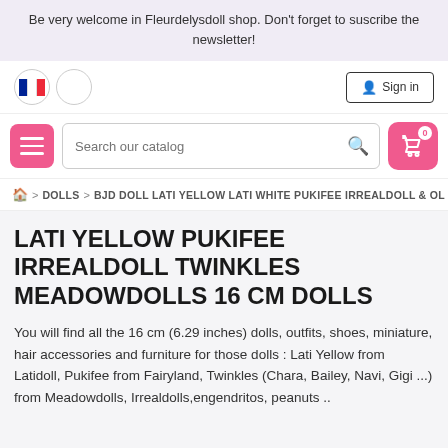Be very welcome in Fleurdelysdoll shop. Don't forget to suscribe the newsletter!
Sign in
Search our catalog
🏠 > DOLLS > BJD DOLL LATI YELLOW LATI WHITE PUKIFEE IRREALDOLL & OL
LATI YELLOW PUKIFEE IRREALDOLL TWINKLES MEADOWDOLLS 16 CM DOLLS
You will find all the 16 cm (6.29 inches) dolls, outfits, shoes, miniature, hair accessories and furniture for those dolls : Lati Yellow from Latidoll, Pukifee from Fairyland, Twinkles (Chara, Bailey, Navi, Gigi ...) from Meadowdolls, Irrealdolls,engendritos, peanuts ..